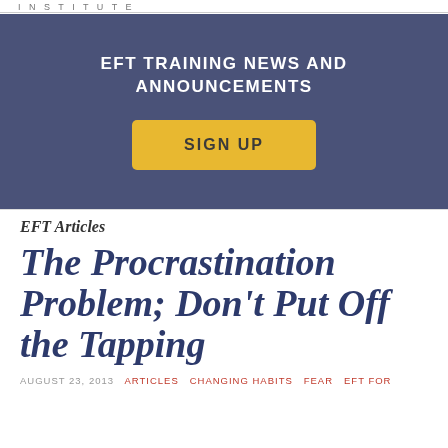INSTITUTE
EFT TRAINING NEWS AND ANNOUNCEMENTS
SIGN UP
EFT Articles
The Procrastination Problem; Don't Put Off the Tapping
AUGUST 23, 2013   ARTICLES   CHANGING HABITS   FEAR   EFT FOR